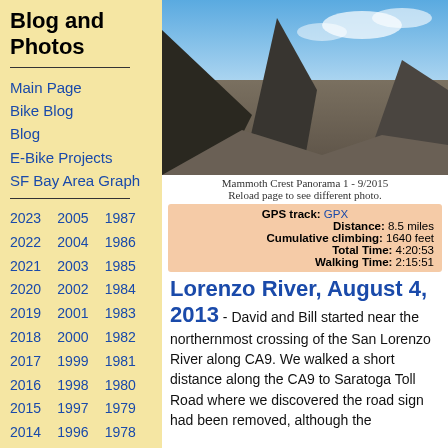Blog and Photos
Main Page
Bike Blog
Blog
E-Bike Projects
SF Bay Area Graph
2023 2005 1987
2022 2004 1986
2021 2003 1985
2020 2002 1984
2019 2001 1983
2018 2000 1982
2017 1999 1981
2016 1998 1980
2015 1997 1979
2014 1996 1978
2013 1995 1977
2012 1994 1976
2011 1993 1975
[Figure (photo): Panoramic mountain landscape photo titled Mammoth Crest Panorama 1 - 9/2015 showing rocky peaks against blue sky]
Mammoth Crest Panorama 1 - 9/2015
Reload page to see different photo.
GPS track: GPX
Distance: 8.5 miles
Cumulative climbing: 1640 feet
Total Time: 4:20:53
Walking Time: 2:15:51
Lorenzo River, August 4, 2013
- David and Bill started near the northernmost crossing of the San Lorenzo River along CA9. We walked a short distance along the CA9 to Saratoga Toll Road where we discovered the road sign had been removed, although the